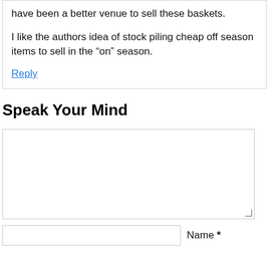have been a better venue to sell these baskets.
I like the authors idea of stock piling cheap off season items to sell in the “on” season.
Reply
Speak Your Mind
[Figure (other): Comment text area input box]
[Figure (other): Name input field with label 'Name *']